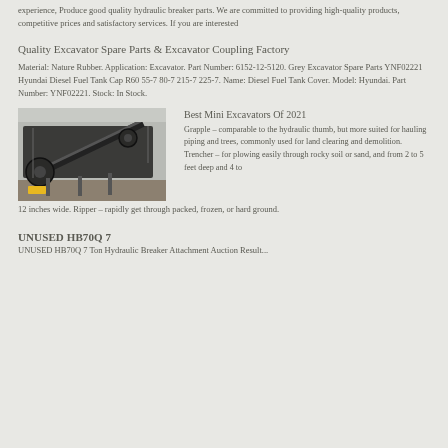experience, Produce good quality hydraulic breaker parts. We are committed to providing high-quality products, competitive prices and satisfactory services. If you are interested
Quality Excavator Spare Parts & Excavator Coupling Factory
Material: Nature Rubber. Application: Excavator. Part Number: 6152-12-5120. Grey Excavator Spare Parts YNF02221 Hyundai Diesel Fuel Tank Cap R60 55-7 80-7 215-7 225-7. Name: Diesel Fuel Tank Cover. Model: Hyundai. Part Number: YNF02221. Stock: In Stock.
Best Mini Excavators Of 2021
[Figure (photo): Industrial machinery, likely a large conveyor or screening plant, photographed outdoors]
Grapple – comparable to the hydraulic thumb, but more suited for hauling piping and trees, commonly used for land clearing and demolition. Trencher – for plowing easily through rocky soil or sand, and from 2 to 5 feet deep and 4 to 12 inches wide. Ripper – rapidly get through packed, frozen, or hard ground.
UNUSED HB70Q 7
UNUSED HB70Q 7 Ton Hydraulic Breaker Attachment Auction Result...